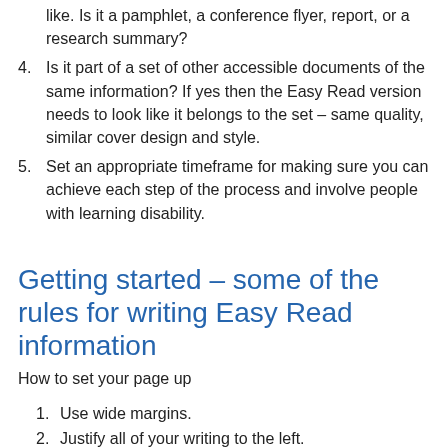like. Is it a pamphlet, a conference flyer, report, or a research summary?
4. Is it part of a set of other accessible documents of the same information? If yes then the Easy Read version needs to look like it belongs to the set – same quality, similar cover design and style.
5. Set an appropriate timeframe for making sure you can achieve each step of the process and involve people with learning disability.
Getting started – some of the rules for writing Easy Read information
How to set your page up
1. Use wide margins.
2. Justify all of your writing to the left.